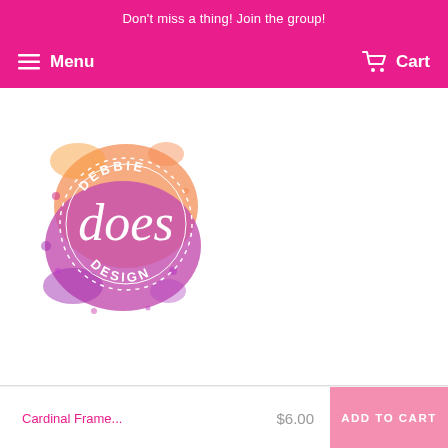Don't miss a thing! Join the group!
Menu  Cart
[Figure (logo): Debbie Does Design logo: watercolor splash in orange and purple with circular dotted border and script/display text reading 'Debbie does DESIGN']
Cardinal Frame...  $6.00
ADD TO CART